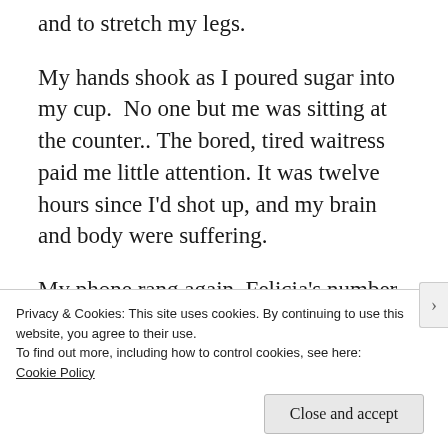and to stretch my legs.
My hands shook as I poured sugar into my cup.  No one but me was sitting at the counter.. The bored, tired waitress paid me little attention. It was twelve hours since I'd shot up, and my brain and body were suffering.
My phone rang again. Felicia's number. I contemplated answering, but I was distracted by a voice. I turned on my stool, and there
Privacy & Cookies: This site uses cookies. By continuing to use this website, you agree to their use.
To find out more, including how to control cookies, see here:
Cookie Policy
Close and accept